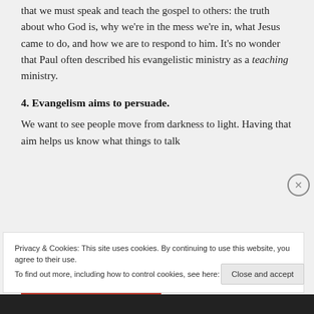that we must speak and teach the gospel to others: the truth about who God is, why we're in the mess we're in, what Jesus came to do, and how we are to respond to him. It's no wonder that Paul often described his evangelistic ministry as a teaching ministry.
4. Evangelism aims to persuade.
We want to see people move from darkness to light. Having that aim helps us know what things to talk about and what things to avoid. To evangelise is to...
Privacy & Cookies: This site uses cookies. By continuing to use this website, you agree to their use.
To find out more, including how to control cookies, see here: Cookie Policy